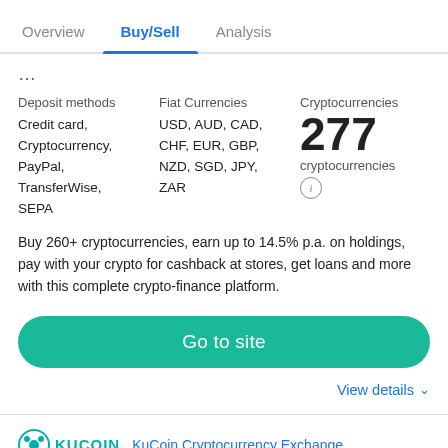Overview | Buy/Sell | Analysis
..
| Deposit methods | Fiat Currencies | Cryptocurrencies |
| --- | --- | --- |
| Credit card, Cryptocurrency, PayPal, TransferWise, SEPA | USD, AUD, CAD, CHF, EUR, GBP, NZD, SGD, JPY, ZAR | 277 cryptocurrencies |
Buy 260+ cryptocurrencies, earn up to 14.5% p.a. on holdings, pay with your crypto for cashback at stores, get loans and more with this complete crypto-finance platform.
Go to site
View details
KuCoin Cryptocurrency Exchange